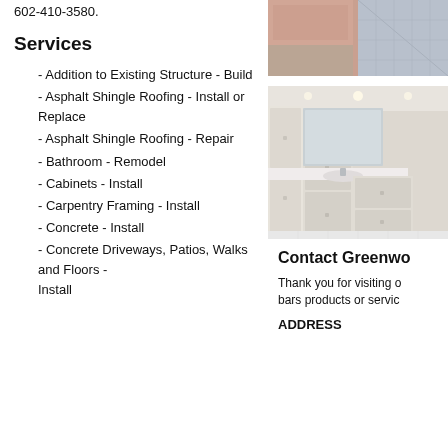602-410-3580.
Services
- Addition to Existing Structure - Build
- Asphalt Shingle Roofing - Install or Replace
- Asphalt Shingle Roofing - Repair
- Bathroom - Remodel
- Cabinets - Install
- Carpentry Framing - Install
- Concrete - Install
- Concrete Driveways, Patios, Walks and Floors - Install
[Figure (photo): Top right photo showing interior design elements with pink/blue geometric patterns]
[Figure (photo): Bathroom remodel photo showing white cabinets, marble countertop, and mirror]
Contact Greenwo
Thank you for visiting o bars products or servic
ADDRESS